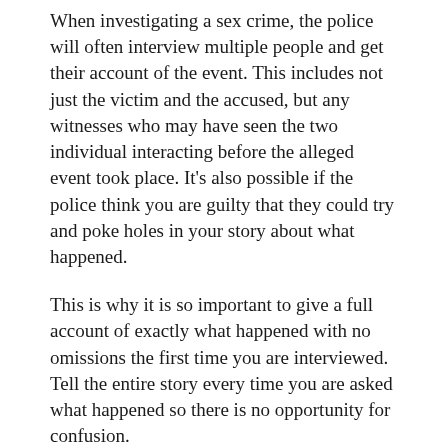When investigating a sex crime, the police will often interview multiple people and get their account of the event. This includes not just the victim and the accused, but any witnesses who may have seen the two individual interacting before the alleged event took place. It's also possible if the police think you are guilty that they could try and poke holes in your story about what happened.
This is why it is so important to give a full account of exactly what happened with no omissions the first time you are interviewed. Tell the entire story every time you are asked what happened so there is no opportunity for confusion.
Finding yourself accused of sexual assault can be a nightmare, but if you take action quickly, you can give yourself a fighting chance. These three steps will definitely help you start the process on the right foot.